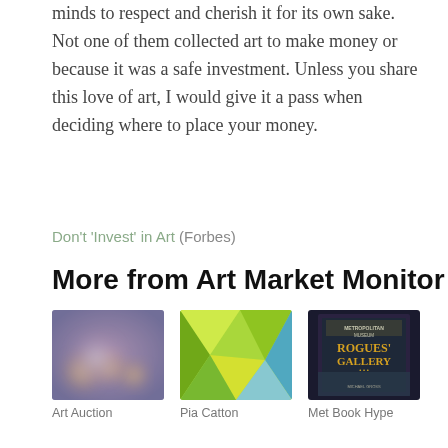minds to respect and cherish it for its own sake. Not one of them collected art to make money or because it was a safe investment. Unless you share this love of art, I would give it a pass when deciding where to place your money.
Don't 'Invest' in Art (Forbes)
More from Art Market Monitor
[Figure (photo): Blurred bokeh photo with warm purple, pink, and orange tones]
Art Auction
[Figure (illustration): Abstract geometric polygon illustration in green, yellow, and blue tones]
Pia Catton
[Figure (photo): Book cover for 'Rogues' Gallery - The Secret Story of the Lust, Lies, Greed, and Betrayals that Made the Metropolitan Museum' ]
Met Book Hype